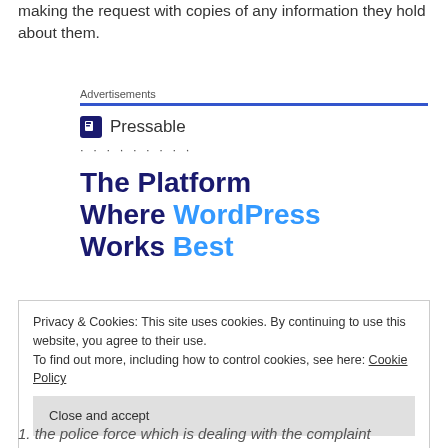making the request with copies of any information they hold about them.
[Figure (infographic): Advertisement for Pressable - The Platform Where WordPress Works Best. Shows Pressable logo with blue P icon, followed by dots, and bold headline text.]
Privacy & Cookies: This site uses cookies. By continuing to use this website, you agree to their use.
To find out more, including how to control cookies, see here: Cookie Policy
Close and accept
1. the police force which is dealing with the complaint